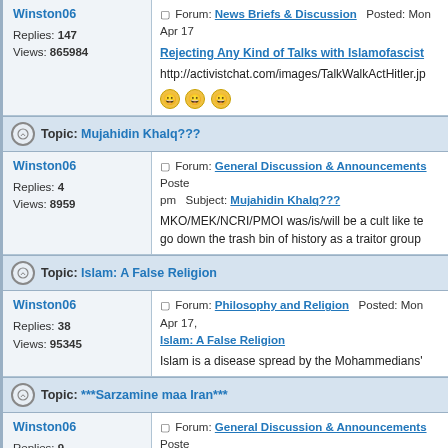Forum: News Briefs & Discussion   Posted: Mon Apr 17   Rejecting Any Kind of Talks with Islamofascist   http://activistchat.com/images/TalkWalkActHitler.jp   [smiley x3]
Winston06   Replies: 147   Views: 865984
Topic: Mujahidin Khalq???
Winston06   Replies: 4   Views: 8959
Forum: General Discussion & Announcements   Posted: ... pm   Subject: Mujahidin Khalq???   MKO/MEK/NCRI/PMOI was/is/will be a cult like te...   go down the trash bin of history as a traitor group
Topic: Islam: A False Religion
Winston06   Replies: 38   Views: 95345
Forum: Philosophy and Religion   Posted: Mon Apr 17,   Islam: A False Religion   Islam is a disease spread by the Mohammedians'
Topic: ***Sarzamine maa Iran***
Winston06   Replies: 9   Views: 31381
Forum: General Discussion & Announcements   Posted: ... am   Subject: ***Sarzamine maa Iran***   Very impressive pictures!   Thanks for sharing
Topic: Reza Pahlavi Interview with BBC Radio 4
Winston06   Forum: News Briefs & Discussion   Posted: Fri A...